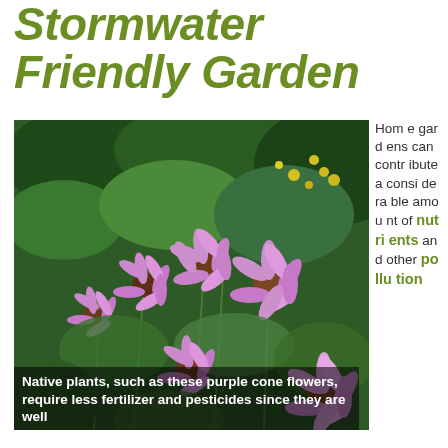Stormwater Friendly Garden
[Figure (photo): A lush garden full of purple coneflowers (Echinacea) and yellow wildflowers with green foliage in the background.]
Native plants, such as these purple cone flowers, require less fertilizer and pesticides since they are well
Home gardens can contribute a considerable amount of nutrients and other pollution